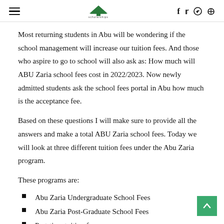Navigation header with hamburger menu, logo, and social icons (f, twitter, telegram, search)
Most returning students in Abu will be wondering if the school management will increase our tuition fees. And those who aspire to go to school will also ask as: How much will ABU Zaria school fees cost in 2022/2023. Now newly admitted students ask the school fees portal in Abu how much is the acceptance fee.
Based on these questions I will make sure to provide all the answers and make a total ABU Zaria school fees. Today we will look at three different tuition fees under the Abu Zaria program.
These programs are:
Abu Zaria Undergraduate School Fees
Abu Zaria Post-Graduate School Fees
Part-time tuition fees